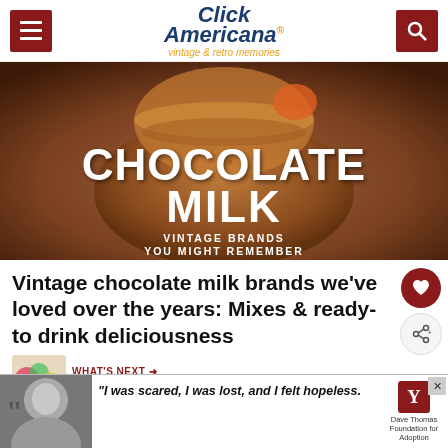Click Americana - vintage & retro memories
[Figure (photo): Hero image showing a glass of chocolate milk with text overlay reading 'CHOCOLATE MILK - VINTAGE BRANDS YOU MIGHT REMEMBER']
Vintage chocolate milk brands we've loved over the years: Mixes & ready-to drink deliciousness
[Figure (photo): What's Next thumbnail showing colorful Jell-O Crown Jello/Windows items]
WHAT'S NEXT → Jell-O Crown Jewel/Windo...
Chocolate milk has been loved by kids –
[Figure (photo): Advertisement banner: 'I was scared, I was lost, and I felt hopeless.' with Dave Thomas Foundation for Adoption logo and a young woman's black and white photo]